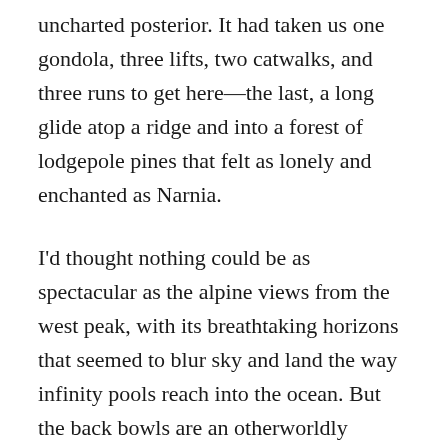uncharted posterior. It had taken us one gondola, three lifts, two catwalks, and three runs to get here—the last, a long glide atop a ridge and into a forest of lodgepole pines that felt as lonely and enchanted as Narnia.
I'd thought nothing could be as spectacular as the alpine views from the west peak, with its breathtaking horizons that seemed to blur sky and land the way infinity pools reach into the ocean. But the back bowls are an otherworldly landscape, great craters carved by fire and water where skiers slice their own paths down wide-open faces. I imagined this is what it would feel like to go heli-skiing—or travel with Lewis and Clark.